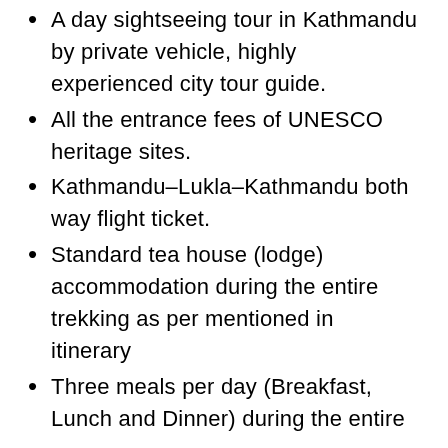A day sightseeing tour in Kathmandu by private vehicle, highly experienced city tour guide.
All the entrance fees of UNESCO heritage sites.
Kathmandu-Lukla-Kathmandu both way flight ticket.
Standard tea house (lodge) accommodation during the entire trekking as per mentioned in itinerary
Three meals per day (Breakfast, Lunch and Dinner) during the entire trekking as per the itinerary